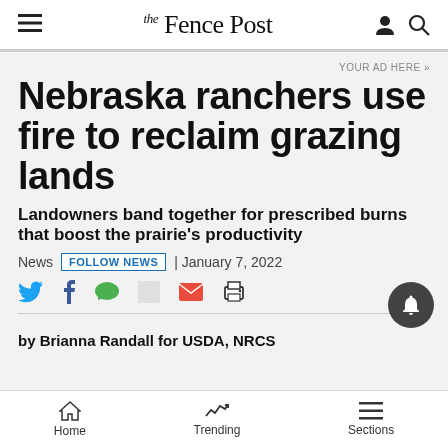the Fence Post
YOUR AD HERE »
Nebraska ranchers use fire to reclaim grazing lands
Landowners band together for prescribed burns that boost the prairie's productivity
News  FOLLOW NEWS  | January 7, 2022
by Brianna Randall for USDA, NRCS
Home  Trending  Sections